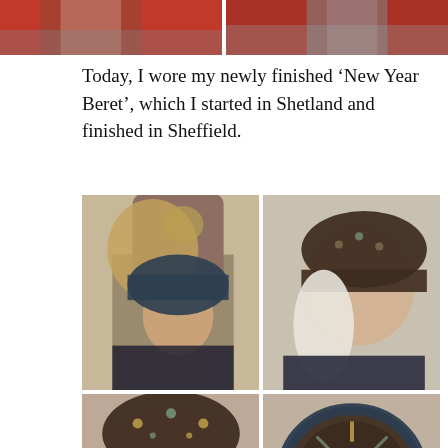[Figure (photo): Two partial photos at the top showing a person in a red jacket in an outdoor rocky setting]
Today, I wore my newly finished ‘New Year Beret’, which I started in Shetland and finished in Sheffield.
[Figure (photo): Woman with white/grey hair wearing a dark patterned beret/hat holding a tabby cat against her face]
[Figure (photo): Side profile of woman with white/grey hair wearing a dark knitted beret with Fair Isle/Nordic pattern]
[Figure (photo): Person wearing dark knitted beret with colourful Fair Isle pattern, front view, partially cropped]
[Figure (photo): Close-up top view of dark knitted beret with colourful Fair Isle snowflake pattern laid flat]